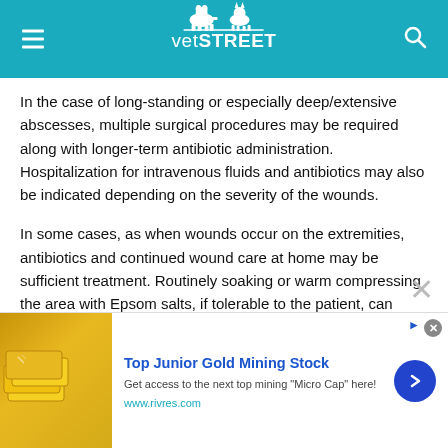vetSTREET
In the case of long-standing or especially deep/extensive abscesses, multiple surgical procedures may be required along with longer-term antibiotic administration. Hospitalization for intravenous fluids and antibiotics may also be indicated depending on the severity of the wounds.
In some cases, as when wounds occur on the extremities, antibiotics and continued wound care at home may be sufficient treatment. Routinely soaking or warm compressing the area with Epsom salts, if tolerable to the patient, can sometimes resolve the problem.
Dental abscesses almost invariably end in dental extractions as well...
This site uses cookies as described in our Cookie Policy. Please click...
[Figure (infographic): Advertisement banner for Top Junior Gold Mining Stock with gold bars image, blue arrow button, and close button]